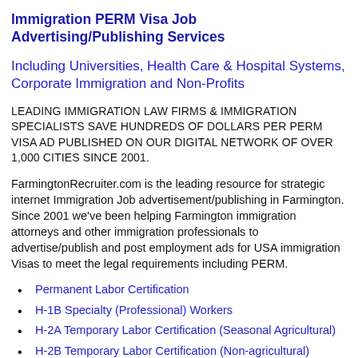Immigration PERM Visa Job Advertising/Publishing Services
Including Universities, Health Care & Hospital Systems, Corporate Immigration and Non-Profits
LEADING IMMIGRATION LAW FIRMS & IMMIGRATION SPECIALISTS SAVE HUNDREDS OF DOLLARS PER PERM VISA AD PUBLISHED ON OUR DIGITAL NETWORK OF OVER 1,000 CITIES SINCE 2001.
FarmingtonRecruiter.com is the leading resource for strategic internet Immigration Job advertisement/publishing in Farmington. Since 2001 we've been helping Farmington immigration attorneys and other immigration professionals to advertise/publish and post employment ads for USA immigration Visas to meet the legal requirements including PERM.
Permanent Labor Certification
H-1B Specialty (Professional) Workers
H-2A Temporary Labor Certification (Seasonal Agricultural)
H-2B Temporary Labor Certification (Non-agricultural)